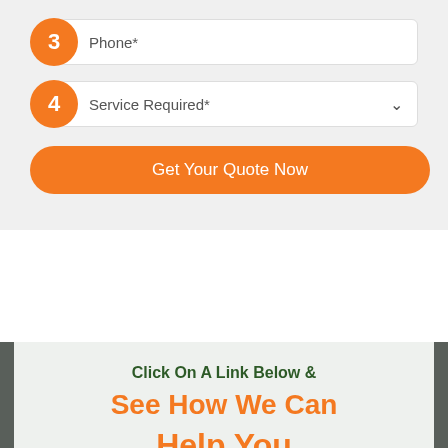3 Phone*
4 Service Required*
Get Your Quote Now
Click On A Link Below &
See How We Can
Help You